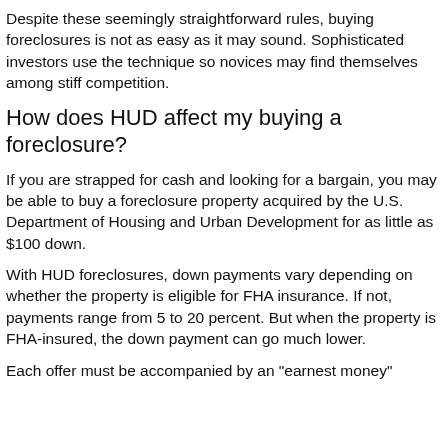Despite these seemingly straightforward rules, buying foreclosures is not as easy as it may sound. Sophisticated investors use the technique so novices may find themselves among stiff competition.
How does HUD affect my buying a foreclosure?
If you are strapped for cash and looking for a bargain, you may be able to buy a foreclosure property acquired by the U.S. Department of Housing and Urban Development for as little as $100 down.
With HUD foreclosures, down payments vary depending on whether the property is eligible for FHA insurance. If not, payments range from 5 to 20 percent. But when the property is FHA-insured, the down payment can go much lower.
Each offer must be accompanied by an "earnest money"